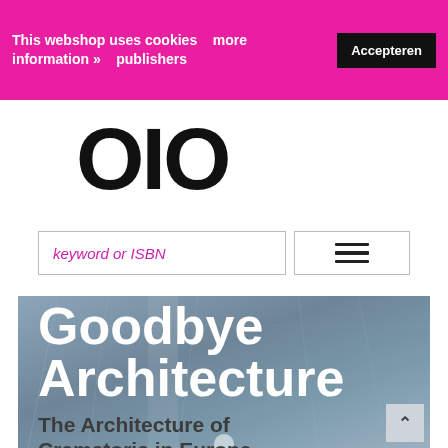This webshop uses cookies   more information »   publishers   Accepteren
[Figure (logo): OIO publishers logo — large bold black letters 'OIO']
keyword or ISBN
[Figure (screenshot): Book cover image for 'Goodbye Architecture – The Architecture of Crematoria in Europe' shown as hero banner with grey-blue blueprint background]
Goodbye Architecture
The Architecture of Crematoria in Europe